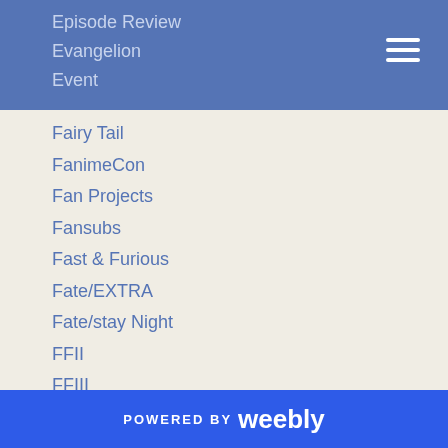Episode Review
Evangelion
Event
Fairy Tail
FanimeCon
Fan Projects
Fansubs
Fast & Furious
Fate/EXTRA
Fate/stay Night
FFII
FFIII
FFIV
FFIX
FFV
FFVI
FFVII
FFVIII
FFX
POWERED BY weebly